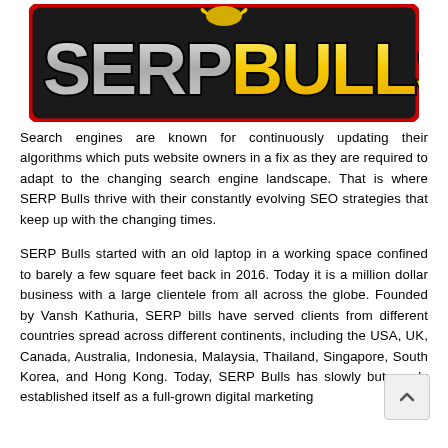[Figure (logo): SERP Bulls logo with stylized text — 'SERP' in silver/grey and 'BULLS' in yellow/gold, both with bold black outline, on a dark background with a red border frame and a bull icon above.]
Search engines are known for continuously updating their algorithms which puts website owners in a fix as they are required to adapt to the changing search engine landscape. That is where SERP Bulls thrive with their constantly evolving SEO strategies that keep up with the changing times.
SERP Bulls started with an old laptop in a working space confined to barely a few square feet back in 2016. Today it is a million dollar business with a large clientele from all across the globe. Founded by Vansh Kathuria, SERP bills have served clients from different countries spread across different continents, including the USA, UK, Canada, Australia, Indonesia, Malaysia, Thailand, Singapore, South Korea, and Hong Kong. Today, SERP Bulls has slowly but surely established itself as a full-grown digital marketing